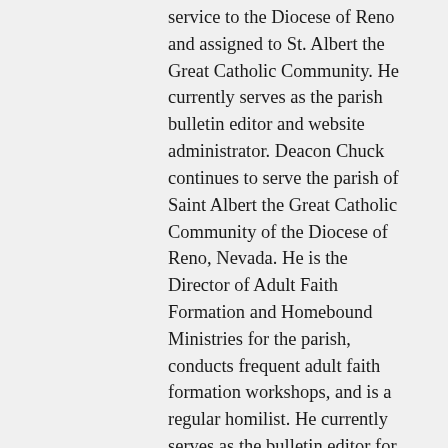service to the Diocese of Reno and assigned to St. Albert the Great Catholic Community. He currently serves as the parish bulletin editor and website administrator. Deacon Chuck continues to serve the parish of Saint Albert the Great Catholic Community of the Diocese of Reno, Nevada. He is the Director of Adult Faith Formation and Homebound Ministries for the parish, conducts frequent adult faith formation workshops, and is a regular homilist. He currently serves as the bulletin editor for the parish bulletin. He writes a weekly column intended to encompass a broad landscape of thoughts and ideas on matters of theology, faith, morals, teachings of the magisterium and the Catholic Church; they are meant to illuminate, illustrate, and catechize the readers and now number more than 230 articles. His latest endeavor is "Colloqui: A journal for restless minds", a weekly journal of about 8 pages similar in content to bulletin reflections. All his reflections, homilies,